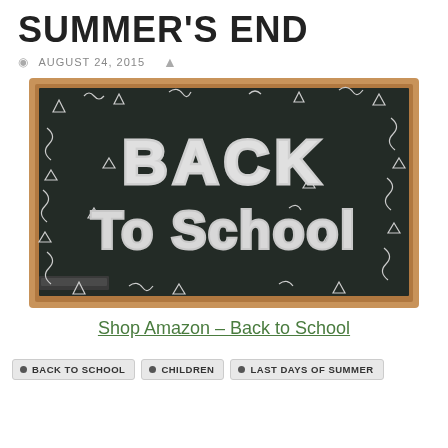SUMMER'S END
AUGUST 24, 2015
[Figure (photo): A chalkboard with 'Back To School' written in chalk, surrounded by decorative chalk drawings of confetti and swirls, framed in wood.]
Shop Amazon – Back to School
BACK TO SCHOOL
CHILDREN
LAST DAYS OF SUMMER